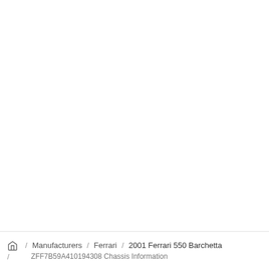Home / Manufacturers / Ferrari / 2001 Ferrari 550 Barchetta / ZFF7B59A410194308 Chassis Information